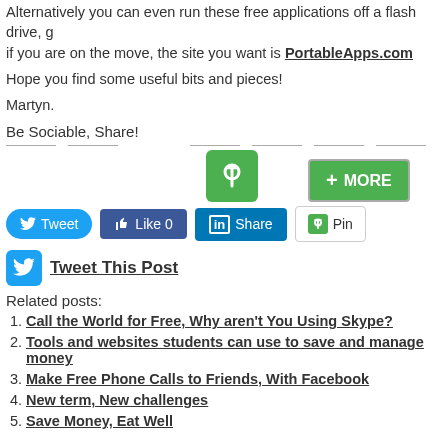Alternatively you can even run these free applications off a flash drive, go if you are on the move, the site you want is PortableApps.com
Hope you find some useful bits and pieces!
Martyn.
Be Sociable, Share!
[Figure (screenshot): Social sharing buttons: a green Pinterest pin icon, a MORE button, Tweet button, Like 0 button, Share button, and Pin button]
Tweet This Post
Related posts:
Call the World for Free, Why aren't You Using Skype?
Tools and websites students can use to save and manage money
Make Free Phone Calls to Friends, With Facebook
New term, New challenges
Save Money, Eat Well